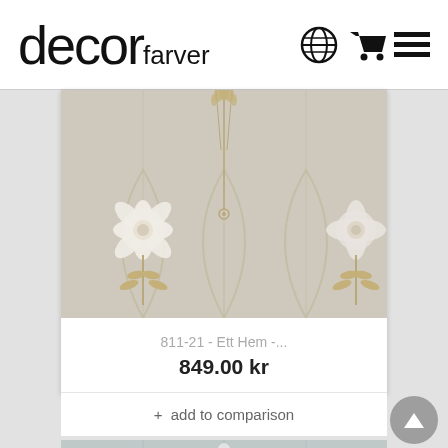decor farver
[Figure (photo): Floral wallpaper pattern with large white blooms and golden wheat-like stems on a light beige/cream background, shown in a product card thumbnail]
811-21 - Ett Hem -...
849.00 kr
+ add to comparison
[Figure (photo): Second wallpaper product with similar floral pattern in muted blue-green tones, partially visible at bottom of page]